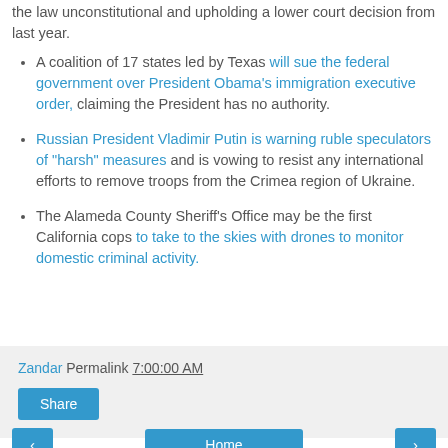the law unconstitutional and upholding a lower court decision from last year.
A coalition of 17 states led by Texas will sue the federal government over President Obama's immigration executive order, claiming the President has no authority.
Russian President Vladimir Putin is warning ruble speculators of "harsh" measures and is vowing to resist any international efforts to remove troops from the Crimea region of Ukraine.
The Alameda County Sheriff's Office may be the first California cops to take to the skies with drones to monitor domestic criminal activity.
Zandar Permalink 7:00:00 AM
Share
Home